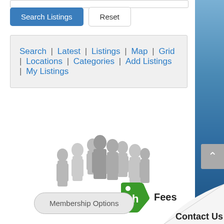[Figure (screenshot): Input field at top of page (partially visible)]
Search Listings | Reset
Search | Latest | Listings | Map | Grid | Locations | Categories | Add Listings | My Listings
[Figure (illustration): Silhouette illustration of a group of people standing together]
[Figure (other): Green price tag icon with letter h]
Fees
Membership Options
Contact Us